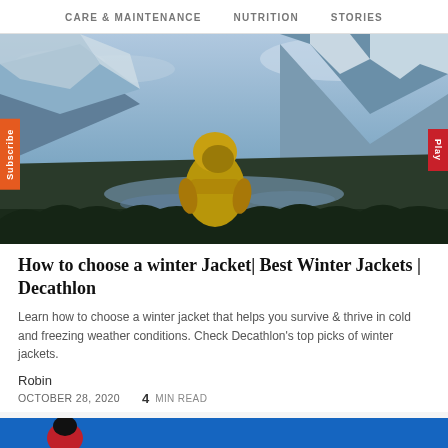CARE & MAINTENANCE   NUTRITION   STORIES
[Figure (photo): Person in yellow hooded jacket viewed from behind, standing in front of a mountain valley landscape with a river, snow-capped peaks, and blue cloudy sky.]
How to choose a winter Jacket| Best Winter Jackets | Decathlon
Learn how to choose a winter jacket that helps you survive & thrive in cold and freezing weather conditions. Check Decathlon's top picks of winter jackets.
Robin
OCTOBER 28, 2020   4  MIN READ